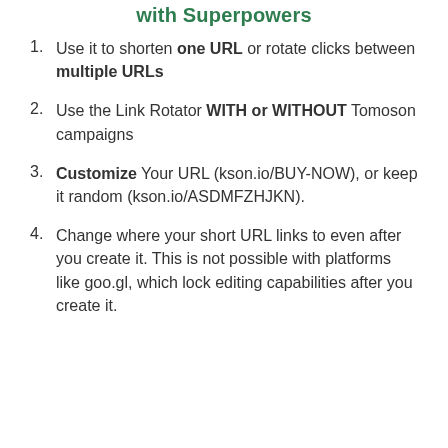with Superpowers
Use it to shorten one URL or rotate clicks between multiple URLs
Use the Link Rotator WITH or WITHOUT Tomoson campaigns
Customize Your URL (kson.io/BUY-NOW), or keep it random (kson.io/ASDMFZHJKN).
Change where your short URL links to even after you create it. This is not possible with platforms like goo.gl, which lock editing capabilities after you create it.